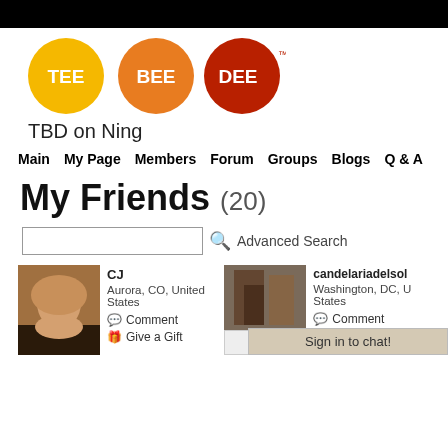[Figure (logo): TBD (Tee Bee Dee) logo with three colored circles: yellow TEE, orange BEE, dark red DEE with TM mark]
TBD on Ning
Main  My Page  Members  Forum  Groups  Blogs  Q & A
My Friends (20)
Advanced Search
CJ
Aurora, CO, United States
Comment
Give a Gift
candelariadelsol
Washington, DC, United States
Comment
Sign in to chat!